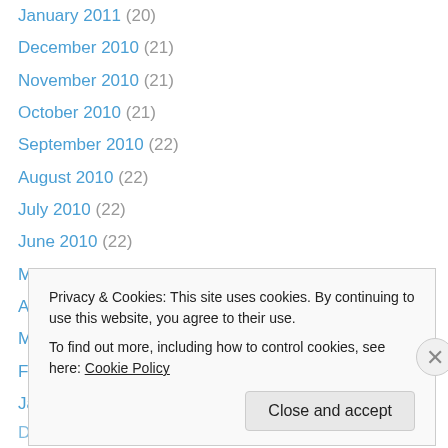January 2011 (20)
December 2010 (21)
November 2010 (21)
October 2010 (21)
September 2010 (22)
August 2010 (22)
July 2010 (22)
June 2010 (22)
May 2010 (21)
April 2010 (22)
March 2010 (23)
February 2010 (20)
January 2010 (21)
December 2009 (22)
Privacy & Cookies: This site uses cookies. By continuing to use this website, you agree to their use.
To find out more, including how to control cookies, see here: Cookie Policy
Close and accept